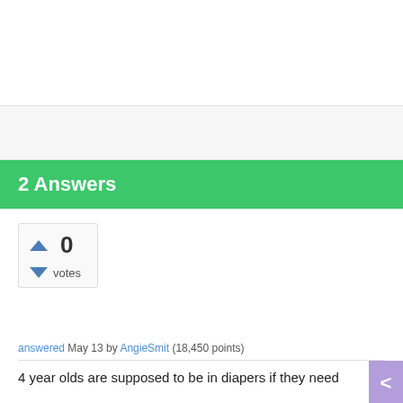2 Answers
0 votes
answered May 13 by AngieSmit (18,450 points)
4 year olds are supposed to be in diapers if they need them